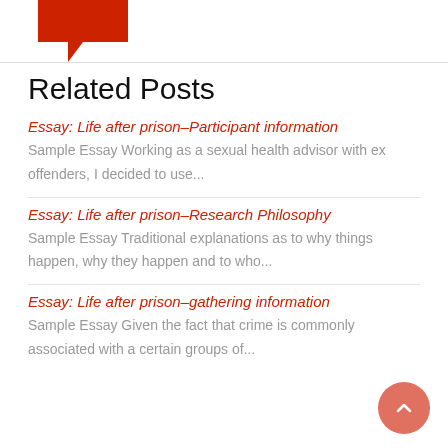[Figure (logo): Red angular speech bubble / arrow logo at top left]
Related Posts
Essay: Life after prison–Participant information
Sample Essay Working as a sexual health advisor with ex offenders, I decided to use...
Essay: Life after prison–Research Philosophy
Sample Essay Traditional explanations as to why things happen, why they happen and to who...
Essay: Life after prison–gathering information
Sample Essay Given the fact that crime is commonly associated with a certain groups of...